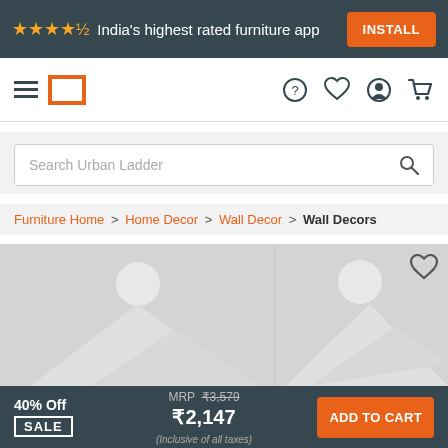★★★★½ India's highest rated furniture app  INSTALL
[Figure (screenshot): Navigation bar with hamburger menu, Urban Ladder logo (orange square outline), help, wishlist, account, and cart icons]
Search Urban Ladder
Furniture Home > Home Decor > Wall Decor > Wall Decors
[Figure (photo): Product image placeholder with mountain/landscape silhouette and circle (sun) on grey background, with heart/wishlist icon in top right]
40% Off  SALE  MRP ₹3,579  ₹2,147  (Inclusive of all taxes)  ADD TO CART